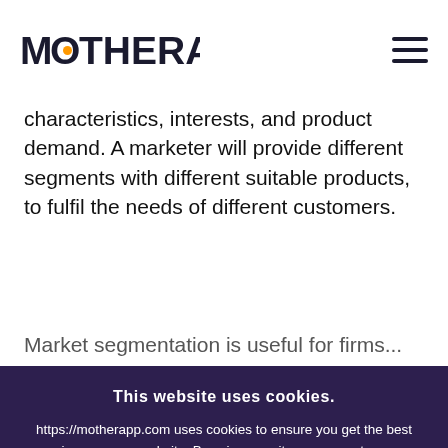MOTHERAPP [logo]
characteristics, interests, and product demand. A marketer will provide different segments with different suitable products, to fulfil the needs of different customers.
Market segmentation is useful for firms...
This website uses cookies.
https://motherapp.com uses cookies to ensure you get the best experience on our website. By using our site you agree to our use of cookies.
Accept